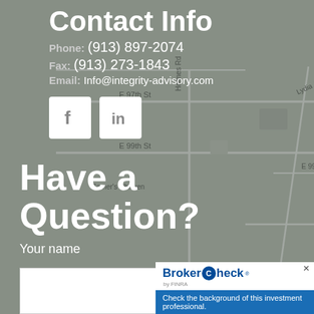[Figure (map): Google Maps view of a Kansas City neighborhood showing streets including E 97th St, E 99th St, E 101st St, Holmes Rd, Lydia Ave, Blue River Rd, and landmarks like Gomer's Chicken. A red map pin is visible near the center.]
Contact Info
Phone: (913) 897-2074
Fax: (913) 273-1843
Email: Info@integrity-advisory.com
[Figure (logo): Facebook icon (white F on white background square)]
[Figure (logo): LinkedIn icon (white 'in' on white background square)]
Have a Question?
Your name
[Figure (other): BrokerCheck by FINRA badge with blue text and call to action: Check the background of this investment professional.]